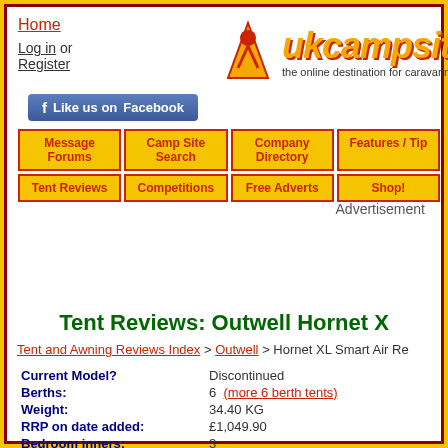Home | Log in or Register | ukcampsite.c... the online destination for caravanners
[Figure (logo): ukcampsite.co.uk logo with campsite figure icon in orange and red, tagline: the online destination for caravanners]
[Figure (other): Like us on Facebook button]
Message Forums | Camp Site Search | Company Directory | Features / Tips
Tent Reviews | Competitions | Free Adverts | Shop!
Advertisement
Tent Reviews: Outwell Hornet XL Smart Air Re...
Tent and Awning Reviews Index > Outwell > Hornet XL Smart Air Re...
| Field | Value |
| --- | --- |
| Current Model? | Discontinued |
| Berths: | 6  (more 6 berth tents) |
| Weight: | 34.40 KG |
| RRP on date added: | £1,049.90 |
| Bedroom inners: | 3 |
| Living area groundsheet: | Fully Sewn-in |
| Pitching Style: | Inflatable |